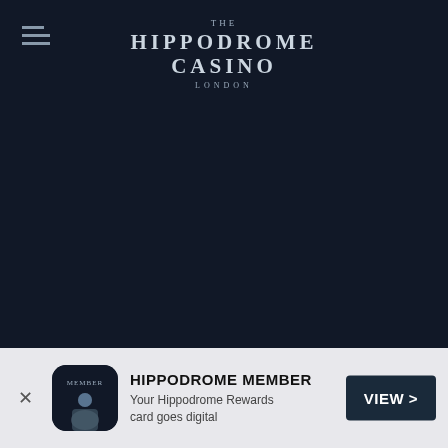[Figure (logo): Hippodrome Casino London logo in white/light text on dark navy background, centered at top of page]
[Figure (infographic): Mobile app notification banner at bottom: close X button, app icon with MEMBER label, title HIPPODROME MEMBER, description text, and VIEW > button]